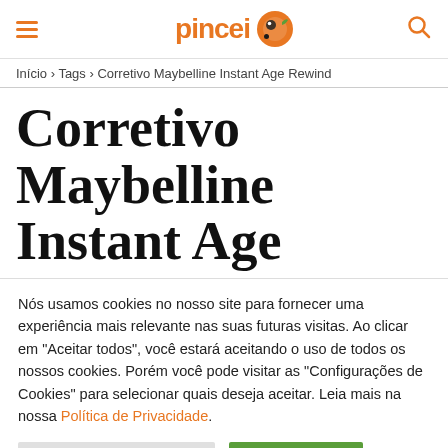pincei [logo with orange paint brush icon]
Início › Tags › Corretivo Maybelline Instant Age Rewind
Corretivo Maybelline Instant Age Rewind
Nós usamos cookies no nosso site para fornecer uma experiência mais relevante nas suas futuras visitas. Ao clicar em "Aceitar todos", você estará aceitando o uso de todos os nossos cookies. Porém você pode visitar as "Configurações de Cookies" para selecionar quais deseja aceitar. Leia mais na nossa Política de Privacidade.
Configurações de cookies | Aceitar todos